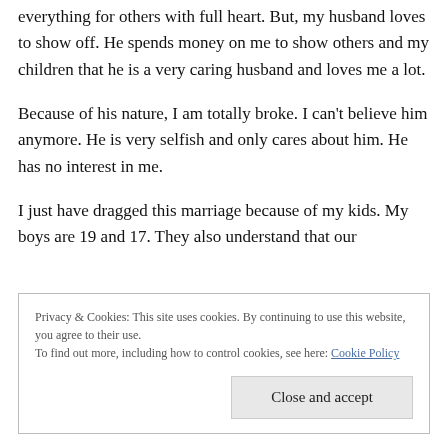everything for others with full heart. But, my husband loves to show off. He spends money on me to show others and my children that he is a very caring husband and loves me a lot.
Because of his nature, I am totally broke. I can't believe him anymore. He is very selfish and only cares about him. He has no interest in me.
I just have dragged this marriage because of my kids. My boys are 19 and 17. They also understand that our
Privacy & Cookies: This site uses cookies. By continuing to use this website, you agree to their use.
To find out more, including how to control cookies, see here: Cookie Policy
[Close and accept]